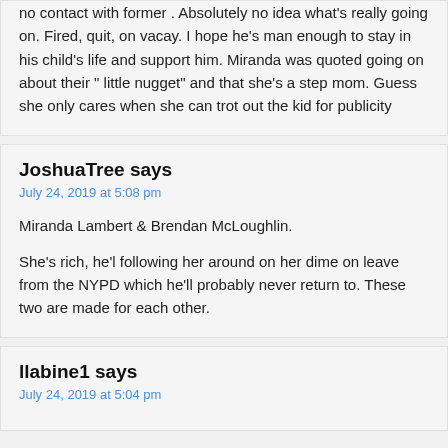no contact with former . Absolutely no idea what's really going on. Fired, quit, on vacay. I hope he's man enough to stay in his child's life and support him. Miranda was quoted going on about their " little nugget" and that she's a step mom. Guess she only cares when she can trot out the kid for publicity
JoshuaTree says
July 24, 2019 at 5:08 pm
Miranda Lambert & Brendan McLoughlin.
She's rich, he'l following her around on her dime on leave from the NYPD which he'll probably never return to. These two are made for each other.
llabine1 says
July 24, 2019 at 5:04 pm